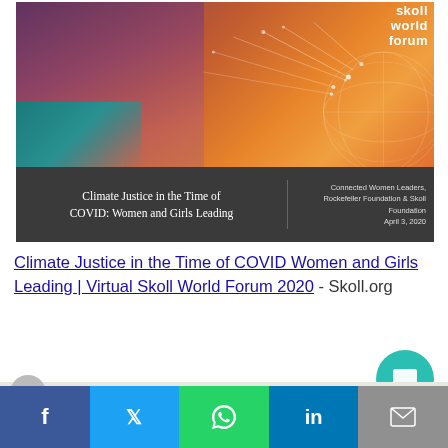[Figure (screenshot): Screenshot of a Skoll World Forum slide titled 'Climate Justice in the Time of COVID: Women and Girls Leading' with Connected Women Leaders, Rockefeller Foundation & Skoll Foundation, April 3, 2020. The slide has an orange/red gradient background with a dark gray bottom bar and network graphic on the right.]
Climate Justice in the Time of COVID Women and Girls Leading | Virtual Skoll World Forum 2020 - Skoll.org